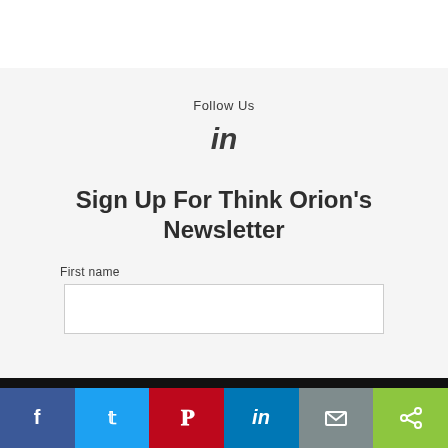Follow Us
[Figure (logo): LinkedIn 'in' icon in dark gray]
Sign Up For Think Orion's Newsletter
First name
[Figure (infographic): Social share bar at bottom with Facebook, Twitter, Pinterest, LinkedIn, Email, and Share buttons]